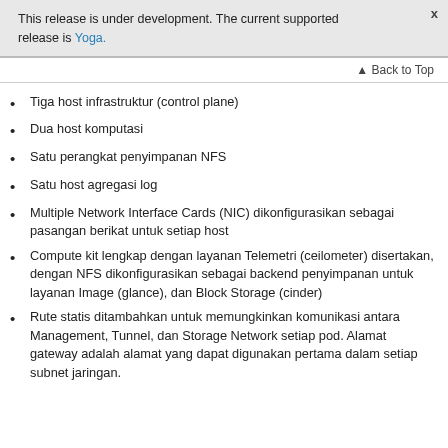This release is under development. The current supported release is Yoga.
Tiga host infrastruktur (control plane)
Dua host komputasi
Satu perangkat penyimpanan NFS
Satu host agregasi log
Multiple Network Interface Cards (NIC) dikonfigurasikan sebagai pasangan berikat untuk setiap host
Compute kit lengkap dengan layanan Telemetri (ceilometer) disertakan, dengan NFS dikonfigurasikan sebagai backend penyimpanan untuk layanan Image (glance), dan Block Storage (cinder)
Rute statis ditambahkan untuk memungkinkan komunikasi antara Management, Tunnel, dan Storage Network setiap pod. Alamat gateway adalah alamat yang dapat digunakan pertama dalam setiap subnet jaringan.